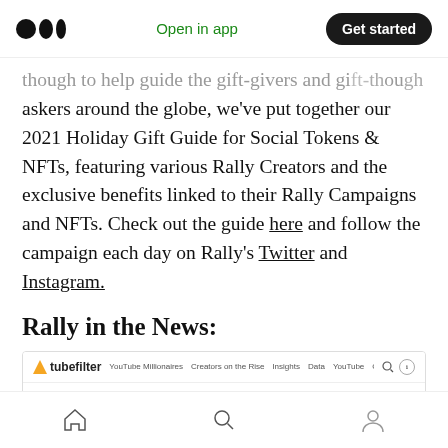Medium logo | Open in app | Get started
though to help guide the gift-givers and gift-askers around the globe, we've put together our 2021 Holiday Gift Guide for Social Tokens & NFTs, featuring various Rally Creators and the exclusive benefits linked to their Rally Campaigns and NFTs. Check out the guide here and follow the campaign each day on Rally's Twitter and Instagram.
Rally in the News:
[Figure (screenshot): Tubefilter website screenshot showing navigation bar and article headline: Rally Hires Former Meta Exec Rob Collier, Says 77% Of Creator Partners Have Built Six-Figure Token Economies]
Home | Search | Profile